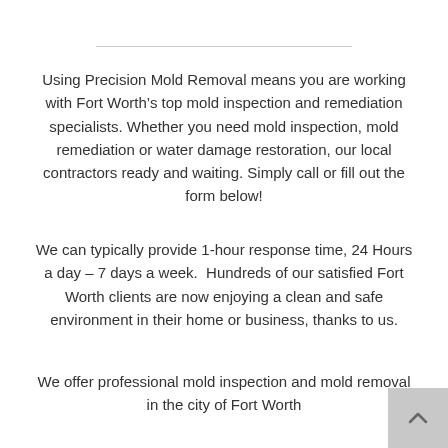Using Precision Mold Removal means you are working with Fort Worth’s top mold inspection and remediation specialists. Whether you need mold inspection, mold remediation or water damage restoration, our local contractors ready and waiting. Simply call or fill out the form below!
We can typically provide 1-hour response time, 24 Hours a day – 7 days a week.  Hundreds of our satisfied Fort Worth clients are now enjoying a clean and safe environment in their home or business, thanks to us.
We offer professional mold inspection and mold removal in the city of Fort Worth